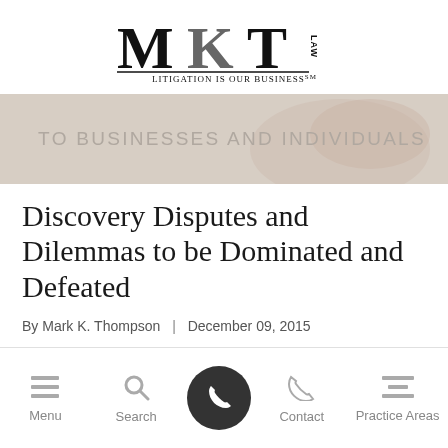[Figure (logo): MKT Law logo with text 'Litigation is our Business']
[Figure (photo): Banner image with text 'TO BUSINESSES AND INDIVIDUALS' overlaid on a blurred background photo of a person signing documents]
Discovery Disputes and Dilemmas to be Dominated and Defeated
By Mark K. Thompson | December 09, 2015
Menu | Search | (phone button) | Contact | Practice Areas